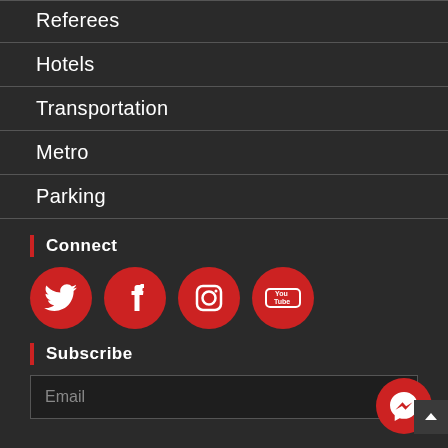Referees
Hotels
Transportation
Metro
Parking
Connect
[Figure (illustration): Four red circular social media icons: Twitter, Facebook, Instagram, YouTube]
Subscribe
Email